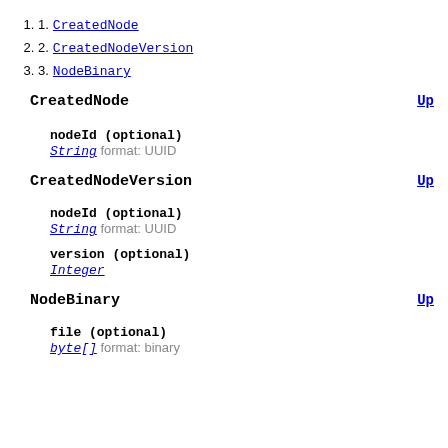1. CreatedNode
2. CreatedNodeVersion
3. NodeBinary
CreatedNode
nodeId (optional)
String format: UUID
CreatedNodeVersion
nodeId (optional)
String format: UUID
version (optional)
Integer
NodeBinary
file (optional)
byte[] format: binary